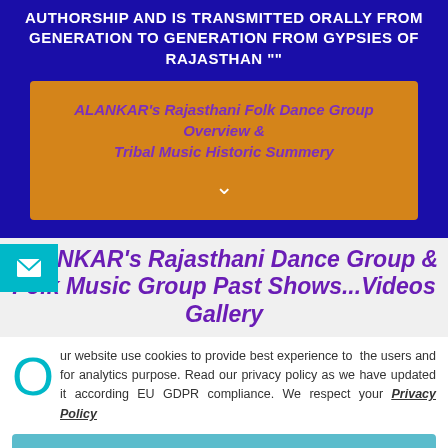AUTHORSHIP AND IS TRANSMITTED ORALLY FROM GENERATION TO GENERATION FROM GYPSIES OF RAJASTHAN ""
ALANKAR's Rajasthani Folk Dance Group Overview & Tribal Music Historic Summery
ALANKAR's Rajasthani Dance Group & Folk Music Group Past Shows...Videos Gallery
Our website use cookies to provide best experience to the users and for analytics purpose. Read our privacy policy as we have updated it according EU GDPR compliance. We respect your Privacy Policy
I AGREE